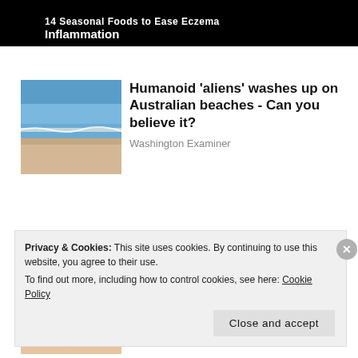14 Seasonal Foods to Ease Eczema Inflammation
Humanoid 'aliens' washes up on Australian beaches - Can you believe it?
Washington Examiner
Finding the Right Meds for Your PsO Skin
HealthCentral.com
Privacy & Cookies: This site uses cookies. By continuing to use this website, you agree to their use.
To find out more, including how to control cookies, see here: Cookie Policy
Close and accept